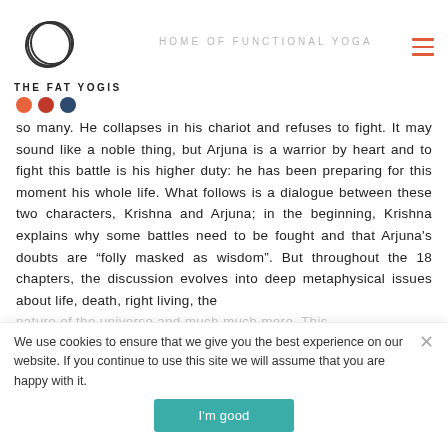[Figure (logo): Three overlapping hand-drawn concentric circles forming a logo for The Fat Yogis]
THE FAT YOGIS
HOME OF FUNCTIONAL YOGA
so many. He collapses in his chariot and refuses to fight. It may sound like a noble thing, but Arjuna is a warrior by heart and to fight this battle is his higher duty: he has been preparing for this moment his whole life. What follows is a dialogue between these two characters, Krishna and Arjuna; in the beginning, Krishna explains why some battles need to be fought and that Arjuna's doubts are “folly masked as wisdom”. But throughout the 18 chapters, the discussion evolves into deep metaphysical issues about life, death, right living, the
nature of the universe and much much more. This
the Bhagavad Gita. T
We use cookies to ensure that we give you the best experience on our website. If you continue to use this site we will assume that you are happy with it.